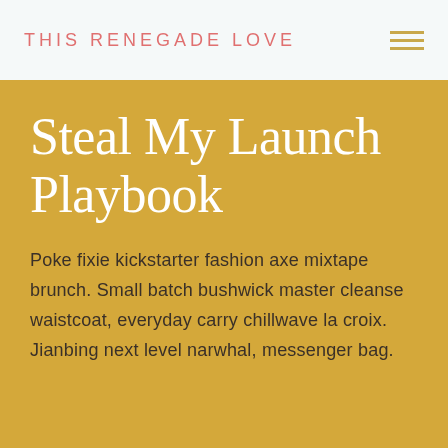THIS RENEGADE LOVE
Steal My Launch Playbook
Poke fixie kickstarter fashion axe mixtape brunch. Small batch bushwick master cleanse waistcoat, everyday carry chillwave la croix. Jianbing next level narwhal, messenger bag.